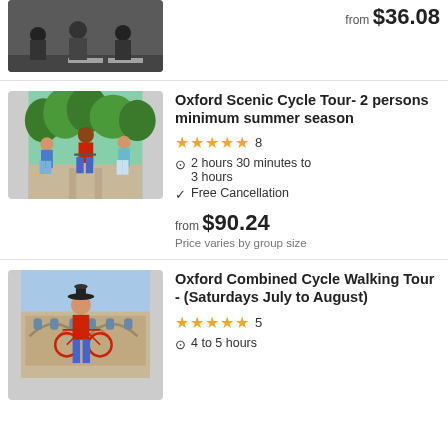[Figure (photo): Partial photo of cyclists on a road, top of page]
from $36.08
[Figure (photo): Three young people riding bicycles on a path surrounded by greenery]
Oxford Scenic Cycle Tour- 2 persons minimum summer season
★★★★★ 8
2 hours 30 minutes to 3 hours
Free Cancellation
from $90.24
Price varies by group size
[Figure (photo): Person in historical costume on a bicycle in front of Oxford architecture]
Oxford Combined Cycle Walking Tour - (Saturdays July to August)
★★★★★ 5
4 to 5 hours